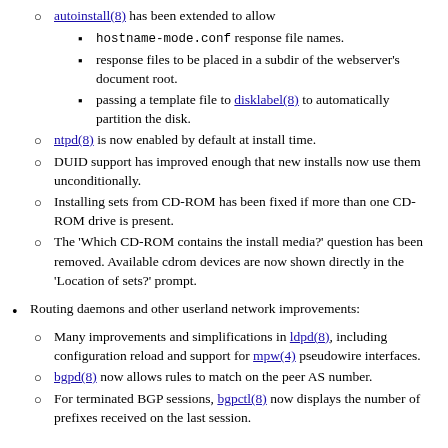autoinstall(8) has been extended to allow
hostname-mode.conf response file names.
response files to be placed in a subdir of the webserver's document root.
passing a template file to disklabel(8) to automatically partition the disk.
ntpd(8) is now enabled by default at install time.
DUID support has improved enough that new installs now use them unconditionally.
Installing sets from CD-ROM has been fixed if more than one CD-ROM drive is present.
The 'Which CD-ROM contains the install media?' question has been removed. Available cdrom devices are now shown directly in the 'Location of sets?' prompt.
Routing daemons and other userland network improvements:
Many improvements and simplifications in ldpd(8), including configuration reload and support for mpw(4) pseudowire interfaces.
bgpd(8) now allows rules to match on the peer AS number.
For terminated BGP sessions, bgpctl(8) now displays the number of prefixes received on the last session.